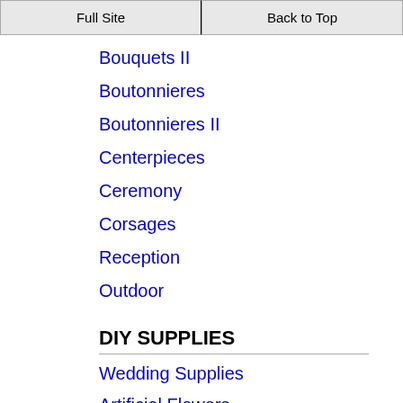Full Site | Back to Top
Bouquets II
Boutonnieres
Boutonnieres II
Centerpieces
Ceremony
Corsages
Reception
Outdoor
DIY SUPPLIES
Wedding Supplies
Artificial Flowers